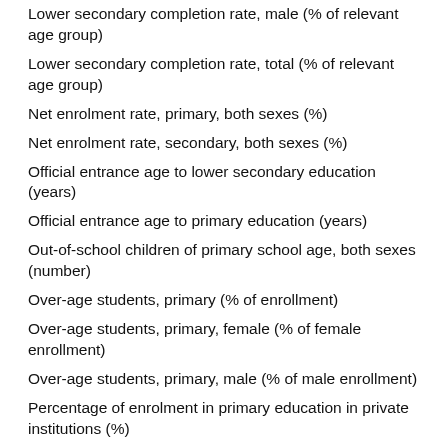Lower secondary completion rate, male (% of relevant age group)
Lower secondary completion rate, total (% of relevant age group)
Net enrolment rate, primary, both sexes (%)
Net enrolment rate, secondary, both sexes (%)
Official entrance age to lower secondary education (years)
Official entrance age to primary education (years)
Out-of-school children of primary school age, both sexes (number)
Over-age students, primary (% of enrollment)
Over-age students, primary, female (% of female enrollment)
Over-age students, primary, male (% of male enrollment)
Percentage of enrolment in primary education in private institutions (%)
Percentage of enrolment in secondary education in private institutions (%)
Percentage of repeaters in primary education, all